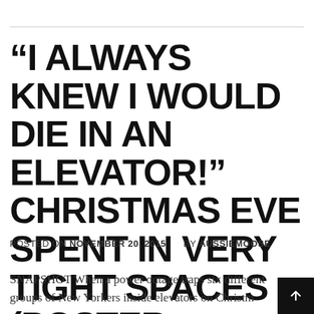“I ALWAYS KNEW I WOULD DIE IN AN ELEVATOR!” CHRISTMAS EVE SPENT IN VERY TIGHT SPACES (POSTER + TRAILER)
POSTED ON NOVEMBER 20, 2015    BY AUSSIEMOOSE
SNAPSHOT When a power outage traps six different groups of New Yorkers inside elevators on Christm...